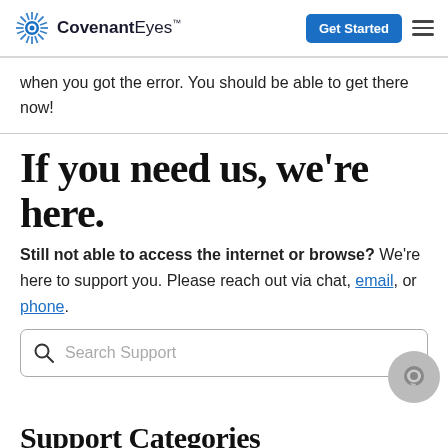Covenant Eyes — Get Started
when you got the error. You should be able to get there now!
If you need us, we're here.
Still not able to access the internet or browse? We're here to support you. Please reach out via chat, email, or phone.
[Figure (other): Search box with placeholder text 'Search Support' and a magnifying glass icon. A gray circular chat bubble icon overlaps the bottom-right corner of the search box.]
Support Categories